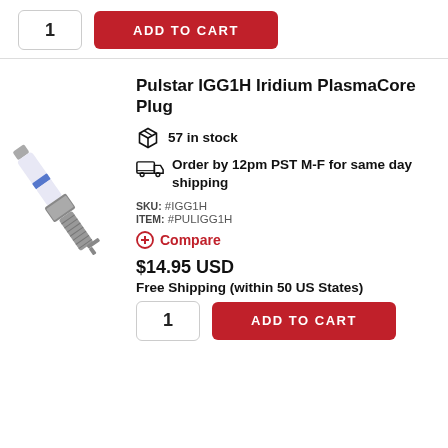1
ADD TO CART
Pulstar IGG1H Iridium PlasmaCore Plug
57 in stock
Order by 12pm PST M-F for same day shipping
SKU: #IGG1H
ITEM: #PULIGG1H
Compare
[Figure (photo): Pulstar spark plug standing diagonally, white ceramic body with metallic threaded end]
$14.95 USD
Free Shipping (within 50 US States)
1
ADD TO CART